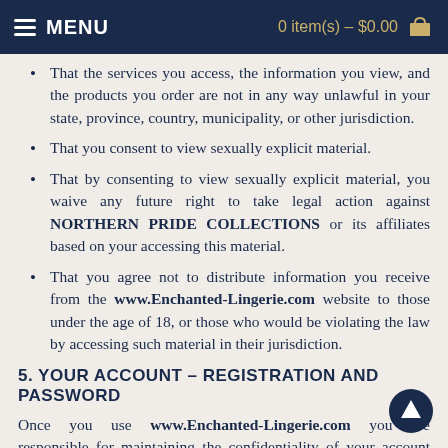MENU   0 item(s) - $0.00
That the services you access, the information you view, and the products you order are not in any way unlawful in your state, province, country, municipality, or other jurisdiction.
That you consent to view sexually explicit material.
That by consenting to view sexually explicit material, you waive any future right to take legal action against NORTHERN PRIDE COLLECTIONS or its affiliates based on your accessing this material.
That you agree not to distribute information you receive from the www.Enchanted-Lingerie.com website to those under the age of 18, or those who would be violating the law by accessing such material in their jurisdiction.
5. YOUR ACCOUNT - REGISTRATION AND PASSWORD
Once you use www.Enchanted-Lingerie.com you are responsible for maintaining the confidentiality of your account and password and for restricting access to your computer. You shall be responsible for all uses of your registration, whether or not authorized by you. You agree to